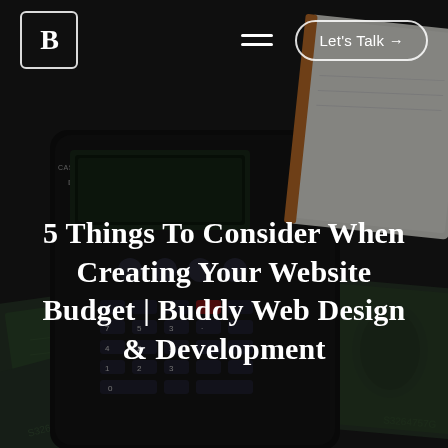[Figure (photo): Dark overhead photo of a scientific calculator (CASIO brand) surrounded by US dollar bills scattered on a surface, with a white notebook visible in the upper right. The scene is dimly lit with dark moody tones.]
B | Let's Talk →
5 Things To Consider When Creating Your Website Budget | Buddy Web Design & Development